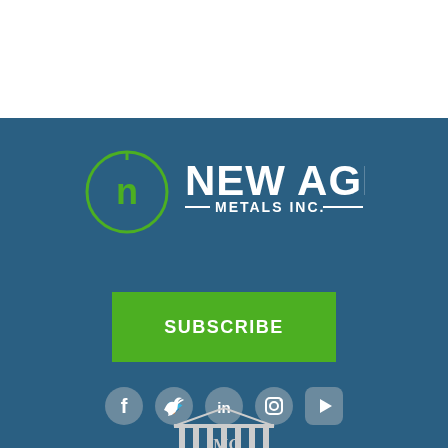[Figure (logo): New Age Metals Inc. logo — green circle with lowercase 'n' icon on the left, white bold text 'NEW AGE' large and 'METALS INC.' smaller with decorative horizontal lines on blue background]
SUBSCRIBE
[Figure (illustration): Row of five social media icons (Facebook, Twitter, LinkedIn, Instagram, YouTube) in grey circular buttons on blue background]
[Figure (logo): Partial IMG (Investment Management Group) building/temple logo at the bottom, white on blue background]